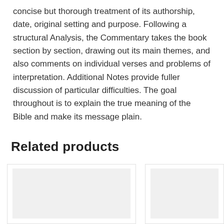concise but thorough treatment of its authorship, date, original setting and purpose. Following a structural Analysis, the Commentary takes the book section by section, drawing out its main themes, and also comments on individual verses and problems of interpretation. Additional Notes provide fuller discussion of particular difficulties. The goal throughout is to explain the true meaning of the Bible and make its message plain.
Related products
[Figure (other): Product card with a light gray placeholder image, left card]
[Figure (other): Product card with a light gray placeholder image, right card (partially visible)]